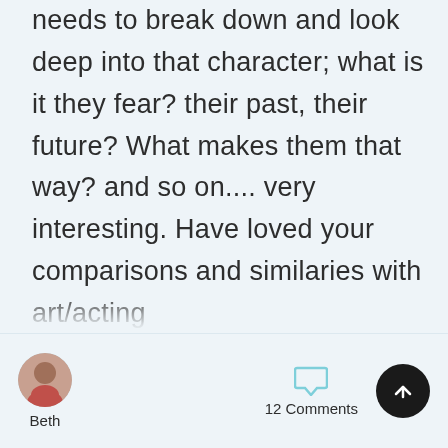needs to break down and look deep into that character; what is it they fear? their past, their future? What makes them that way? and so on.... very interesting. Have loved your comparisons and similaries with art/acting
[Figure (photo): Avatar photo of user Beth, a woman in a pink top]
Beth
12 Comments